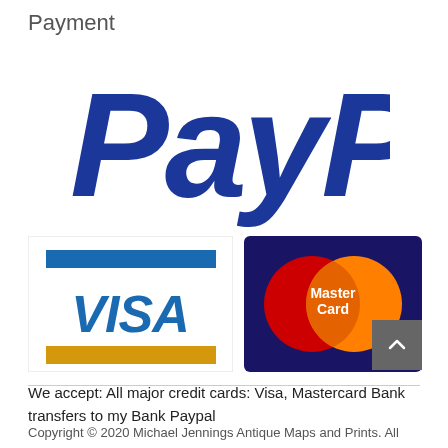Payment
[Figure (logo): PayPal logo in blue italic bold text]
[Figure (logo): Visa logo with blue top bar, blue VISA text, and gold bottom bar on white background]
[Figure (logo): MasterCard logo with red and orange overlapping circles on dark navy background with MasterCard text]
We accept: All major credit cards: Visa, Mastercard Bank transfers to my Bank Paypal
Copyright © 2020 Michael Jennings Antique Maps and Prints. All